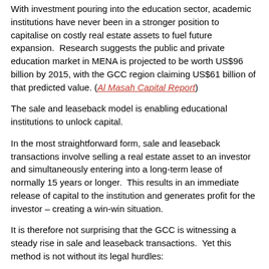With investment pouring into the education sector, academic institutions have never been in a stronger position to capitalise on costly real estate assets to fuel future expansion.  Research suggests the public and private education market in MENA is projected to be worth US$96 billion by 2015, with the GCC region claiming US$61 billion of that predicted value. (Al Masah Capital Report)
The sale and leaseback model is enabling educational institutions to unlock capital.
In the most straightforward form, sale and leaseback transactions involve selling a real estate asset to an investor and simultaneously entering into a long-term lease of normally 15 years or longer.  This results in an immediate release of capital to the institution and generates profit for the investor – creating a win-win situation.
It is therefore not surprising that the GCC is witnessing a steady rise in sale and leaseback transactions.  Yet this method is not without its legal hurdles: